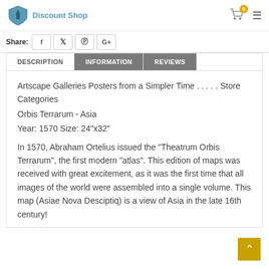Discount Shop
Share:
Artscape Galleries Posters from a Simpler Time . . . . . Store Categories
Orbis Terrarum - Asia
Year: 1570 Size: 24"x32"
In 1570, Abraham Ortelius issued the "Theatrum Orbis Terrarum", the first modern "atlas". This edition of maps was received with great excitement, as it was the first time that all images of the world were assembled into a single volume. This map (Asiae Nova Desciptiq) is a view of Asia in the late 16th century!